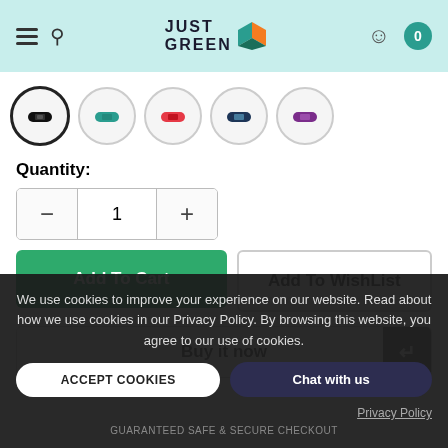Just Green - e-commerce site header with logo, navigation, and cart (0)
[Figure (screenshot): Five circular color swatches for a fitness tracker band: black (selected), teal, red, navy blue, purple]
Quantity:
[Figure (infographic): Quantity selector with minus button, value 1, and plus button]
[Figure (infographic): Add To Cart (green) and Add To WishList buttons]
Buy it now
We use cookies to improve your experience on our website. Read about how we use cookies in our Privacy Policy. By browsing this website, you agree to our use of cookies.
ACCEPT COOKIES
Chat with us
Privacy Policy
GUARANTEED SAFE & SECURE CHECKOUT